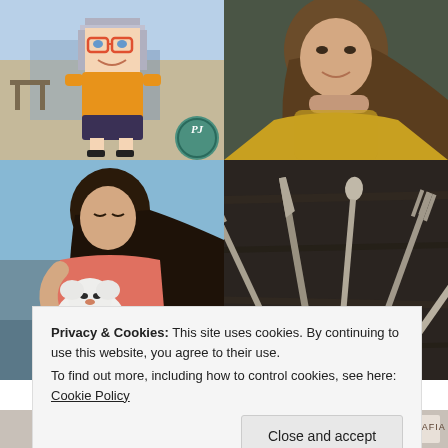[Figure (illustration): Top-left: Cartoon/pixel art illustration of a girl character with glasses, wearing an orange dress, with a teal circular logo/badge in the bottom right corner]
[Figure (photo): Top-right: Portrait photo of a smiling young woman with curly brown hair, resting her chin on her hand, wearing a yellow/mustard top, dark background]
[Figure (photo): Bottom-left: Photo of an Asian woman in a coral/pink top holding a small fluffy white dog, outdoors near water/beach]
[Figure (photo): Bottom-right: Black and white overhead photo of various silverware/cutlery (forks, spoons, knives) arranged on a dark wooden surface]
Privacy & Cookies: This site uses cookies. By continuing to use this website, you agree to their use.
To find out more, including how to control cookies, see here: Cookie Policy
[Figure (photo): Bottom strip: Partially visible images at the bottom of the page, including what appears to be a hat/bag on the left and a logo/text on the right]